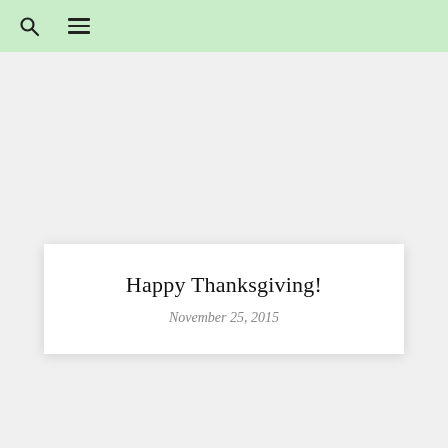Happy Thanksgiving!
November 25, 2015